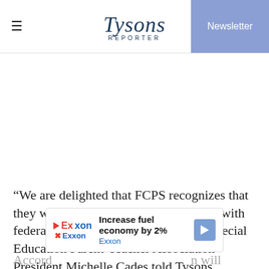Tysons Reporter | Newsletter
“We are delighted that FCPS recognizes that they were in shocking non-compliance with federal regulations,” Fairfax County Special Education Parent-Teacher Association President Michelle Cades told Tysons Reporter. “We are really optimistic that reporting is going to improve and that there is going to be more transparency.”
[Figure (other): Exxon advertisement banner: 'Increase fuel economy by 2%' with Exxon logo and navigation arrow icon]
Accord... n will